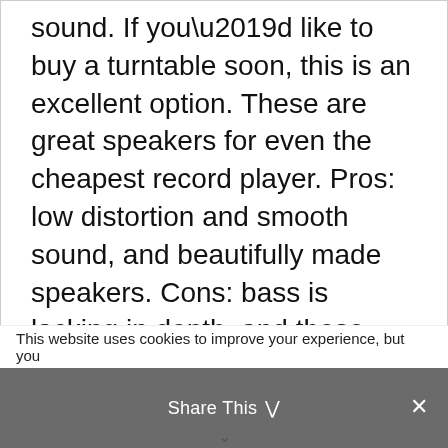sound. If you'd like to buy a turntable soon, this is an excellent option. These are great speakers for even the cheapest record player. Pros: low distortion and smooth sound, and beautifully made speakers. Cons: bass is lacking in depth, and these speakers are best used with vinyl's and not as useful if you'd like to use them for home speakers' due to their ability to
This website uses cookies to improve your experience, but you
Share This ∨